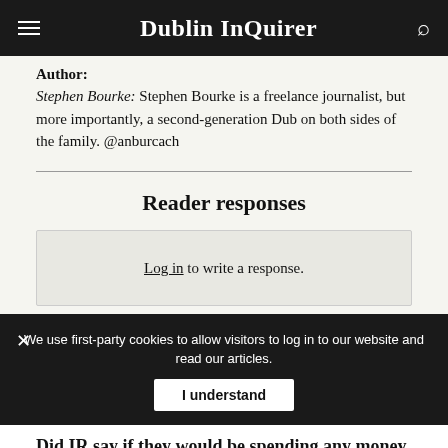Dublin InQuirer
Author:
Stephen Bourke: Stephen Bourke is a freelance journalist, but more importantly, a second-generation Dub on both sides of the family. @anburcach
Reader responses
Log in to write a response.
We use first-party cookies to allow visitors to log in to our website and read our articles.
I understand
Did IR say if they would be spending any money